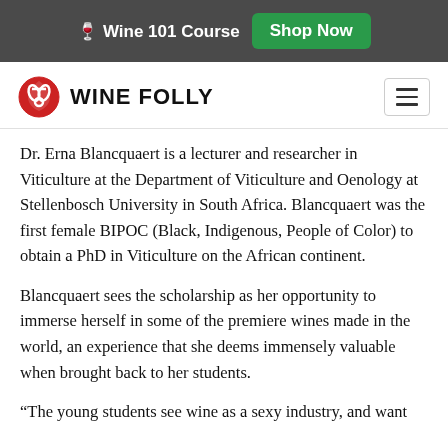🍷 Wine 101 Course  Shop Now
WINE FOLLY
Dr. Erna Blancquaert is a lecturer and researcher in Viticulture at the Department of Viticulture and Oenology at Stellenbosch University in South Africa. Blancquaert was the first female BIPOC (Black, Indigenous, People of Color) to obtain a PhD in Viticulture on the African continent.
Blancquaert sees the scholarship as her opportunity to immerse herself in some of the premiere wines made in the world, an experience that she deems immensely valuable when brought back to her students.
“The young students see wine as a sexy industry, and want